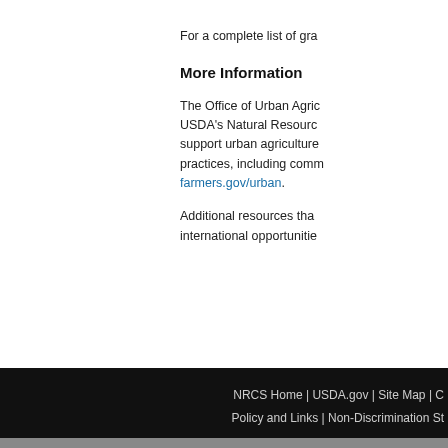For a complete list of gra
More Information
The Office of Urban Agric USDA's Natural Resourc support urban agriculture practices, including comm farmers.gov/urban.
Additional resources tha international opportunitie
NRCS Home | USDA.gov | Site Map | C
Policy and Links | Non-Discrimination St